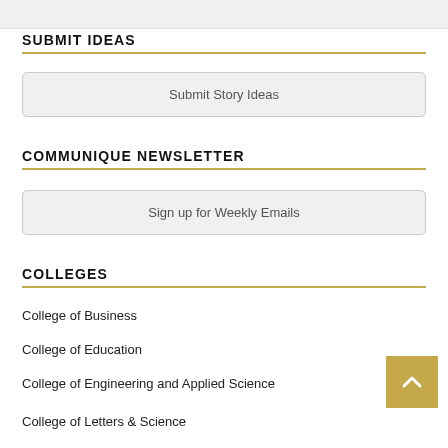SUBMIT IDEAS
Submit Story Ideas
COMMUNIQUE NEWSLETTER
Sign up for Weekly Emails
COLLEGES
College of Business
College of Education
College of Engineering and Applied Science
College of Letters & Science